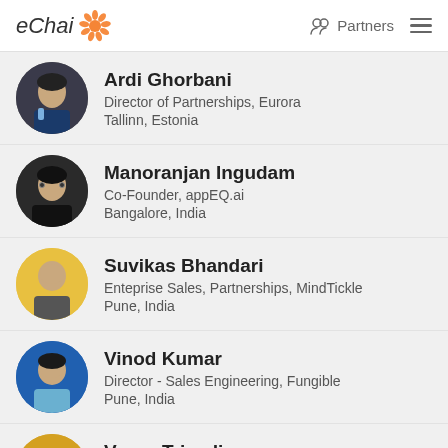eChai Partners
Ardi Ghorbani
Director of Partnerships, Eurora
Tallinn, Estonia
Manoranjan Ingudam
Co-Founder, appEQ.ai
Bangalore, India
Suvikas Bhandari
Enteprise Sales, Partnerships, MindTickle
Pune, India
Vinod Kumar
Director - Sales Engineering, Fungible
Pune, India
Varun Trivedi
Co-Founder, Iconscout
Surat, India
Naman Sarawagi
Founder, Refrons.com